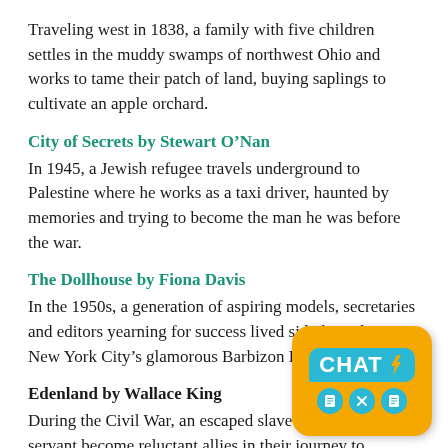Traveling west in 1838, a family with five children settles in the muddy swamps of northwest Ohio and works to tame their patch of land, buying saplings to cultivate an apple orchard.
City of Secrets by Stewart O’Nan
In 1945, a Jewish refugee travels underground to Palestine where he works as a taxi driver, haunted by memories and trying to become the man he was before the war.
The Dollhouse by Fiona Davis
In the 1950s, a generation of aspiring models, secretaries and editors yearning for success lived side-by-side at New York City’s glamorous Barbizon Hotel for Women.
Edenland by Wallace King
During the Civil War, an escaped slave and an indentured servant become reluctant allies in their journey to freedom.
[Figure (other): Yellow chat widget with teal speech bubble displaying 'CHAT' with a lightning bolt, and three teal icon circles below showing document, X, and document icons]